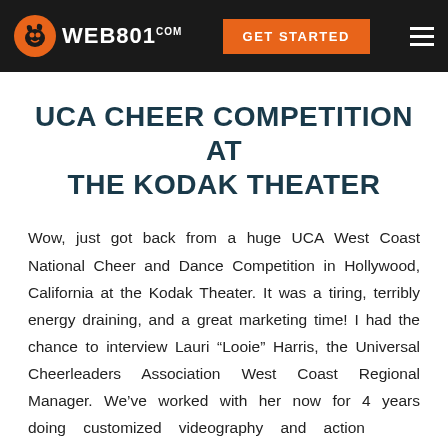WEB801.com | GET STARTED
UCA CHEER COMPETITION AT THE KODAK THEATER
Wow, just got back from a huge UCA West Coast National Cheer and Dance Competition in Hollywood, California at the Kodak Theater. It was a tiring, terribly energy draining, and a great marketing time! I had the chance to interview Lauri “Looie” Harris, the Universal Cheerleaders Association West Coast Regional Manager. We’ve worked with her now for 4 years doing customized videography and action